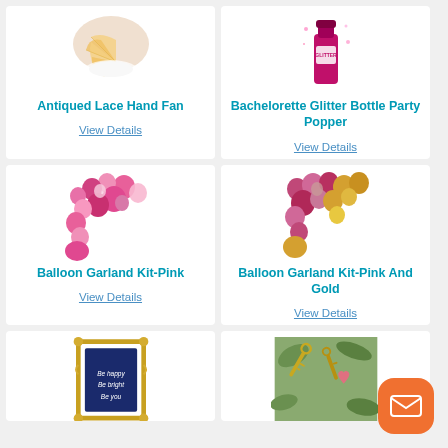[Figure (photo): Antiqued Lace Hand Fan product photo - person holding a white lace fan]
Antiqued Lace Hand Fan
View Details
[Figure (photo): Bachelorette Glitter Bottle Party Popper - pink glitter bottle]
Bachelorette Glitter Bottle Party Popper
View Details
[Figure (photo): Balloon Garland Kit-Pink - pink balloon garland arrangement]
Balloon Garland Kit-Pink
View Details
[Figure (photo): Balloon Garland Kit-Pink And Gold - pink and gold balloon garland arrangement]
Balloon Garland Kit-Pink And Gold
View Details
[Figure (photo): Decorative gold ornate picture frame with blue card inside]
[Figure (photo): Gold keys and accessories on greenery background]